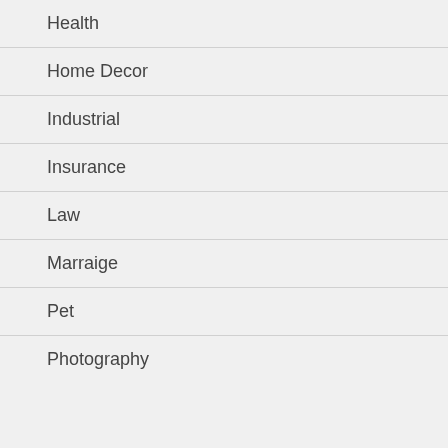Health
Home Decor
Industrial
Insurance
Law
Marraige
Pet
Photography